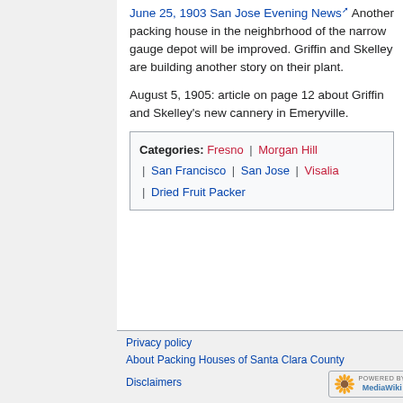June 25, 1903 San Jose Evening News Another packing house in the neighbrhood of the narrow gauge depot will be improved. Griffin and Skelley are building another story on their plant.
August 5, 1905: article on page 12 about Griffin and Skelley's new cannery in Emeryville.
| Categories: Fresno | Morgan Hill | San Francisco | San Jose | Visalia | Dried Fruit Packer |
Privacy policy
About Packing Houses of Santa Clara County
Disclaimers